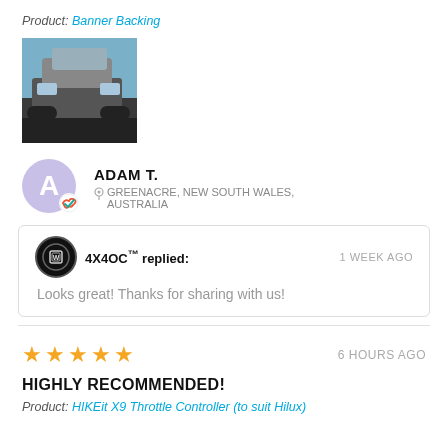Product: Banner Backing
[Figure (photo): Thumbnail photo of a vehicle with banner backing visible, outdoor scene]
ADAM T. - GREENACRE, NEW SOUTH WALES, AUSTRALIA
4X4OC™ replied: 1 WEEK AGO - Looks great! Thanks for sharing with us!
★★★★★ 6 HOURS AGO
HIGHLY RECOMMENDED!
Product: HIKEit X9 Throttle Controller (to suit Hilux)